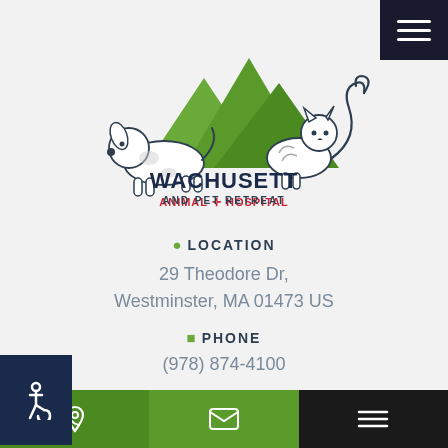[Figure (logo): Wachusett Animal Hospital and Pet Retreat logo featuring a dog, cat, and green mountain peaks with the text WACHUSETT ANIMAL + HOSPITAL AND PET RETREAT]
LOCATION
29 Theodore Dr, Westminster, MA 01473 US
PHONE
(978) 874-4100
[Figure (illustration): Facebook and Instagram social media icons]
HOURS